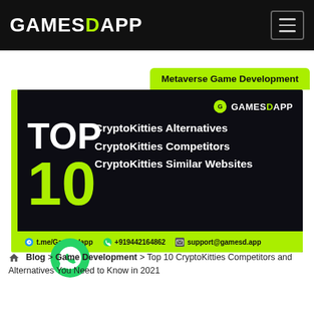[Figure (logo): GamesDApp navigation bar with white and green logo on black background and hamburger menu icon]
Metaverse Game Development
[Figure (infographic): Dark banner with green left border showing 'TOP 10 CryptoKitties Alternatives CryptoKitties Competitors CryptoKitties Similar Websites' with GamesDApp logo, contact info: t.me/Gamesdapp, +919442164862, support@gamesd.app]
Blog > Game Development > Top 10 CryptoKitties Competitors and Alternatives You Need to Know in 2021